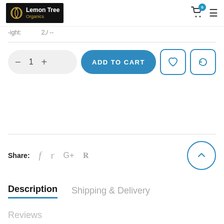[Figure (logo): Lemon Tree Organics logo on black background with golden circle icon]
- 1 +
ADD TO CART
Share:
Description
Shipping & Delivery
Reviews